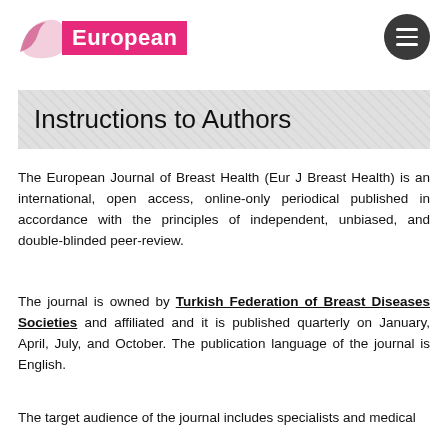European
Instructions to Authors
The European Journal of Breast Health (Eur J Breast Health) is an international, open access, online-only periodical published in accordance with the principles of independent, unbiased, and double-blinded peer-review.
The journal is owned by Turkish Federation of Breast Diseases Societies and affiliated and it is published quarterly on January, April, July, and October. The publication language of the journal is English.
The target audience of the journal includes specialists and medical